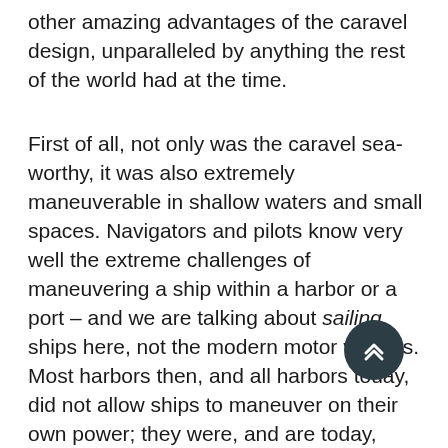other amazing advantages of the caravel design, unparalleled by anything the rest of the world had at the time.
First of all, not only was the caravel sea-worthy, it was also extremely maneuverable in shallow waters and small spaces. Navigators and pilots know very well the extreme challenges of maneuvering a ship within a harbor or a port – and we are talking about sailing ships here, not the modern motor vessels. Most harbors then, and all harbors today, did not allow ships to maneuver on their own power; they were, and are today, supposed to use tug boats, and specially trained harbor pilots. (Keep in mind that a ship is not like a truck. A ship can't just press on the brakes if it can't take a curve; there is no surface against which it can brake. Maneuvering a ship – let alone a sailing ship – in narrow waters is a complex